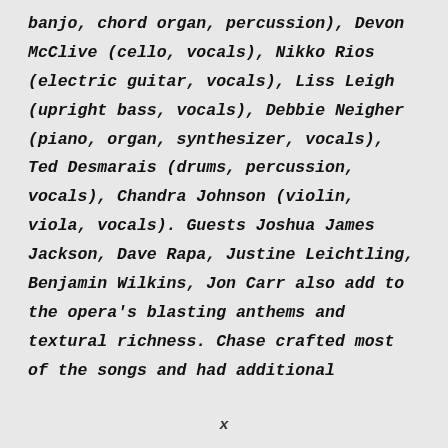banjo, chord organ, percussion), Devon McClive (cello, vocals), Nikko Rios (electric guitar, vocals), Liss Leigh (upright bass, vocals), Debbie Neigher (piano, organ, synthesizer, vocals), Ted Desmarais (drums, percussion, vocals), Chandra Johnson (violin, viola, vocals). Guests Joshua James Jackson, Dave Rapa, Justine Leichtling, Benjamin Wilkins, Jon Carr also add to the opera’s blasting anthems and textural richness. Chase crafted most of the songs and had additional
x